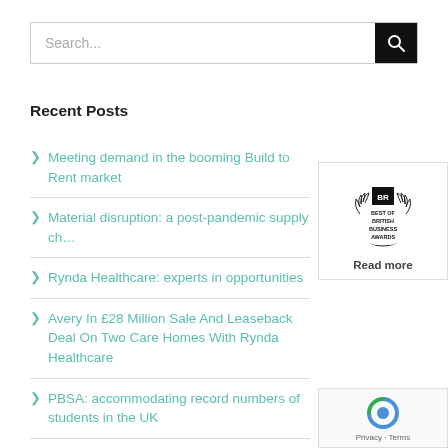Search...
Recent Posts
Meeting demand in the booming Build to Rent market
Material disruption: a post-pandemic supply ch...
Rynda Healthcare: experts in opportunities
Avery In £28 Million Sale And Leaseback Deal On Two Care Homes With Rynda Healthcare
PBSA: accommodating record numbers of students in the UK
[Figure (logo): Best of British Business Awards badge with BR initials and laurel wreath, with 'Read more' text below]
[Figure (logo): reCAPTCHA widget with Privacy and Terms labels]